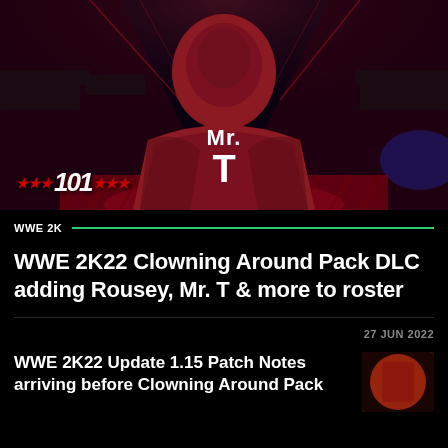[Figure (screenshot): WWE 2K22 game screenshot showing a figure from behind wearing a dark red hoodie with 'Mr. T' on the back, in an arena with crowd in background. Overlay text '***101***' in bottom left corner.]
WWE 2K
WWE 2K22 Clowning Around Pack DLC adding Rousey, Mr. T & more to roster
27 JUN 2022
WWE 2K22 Update 1.15 Patch Notes arriving before Clowning Around Pack